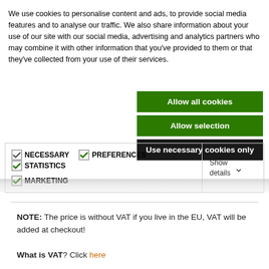We use cookies to personalise content and ads, to provide social media features and to analyse our traffic. We also share information about your use of our site with our social media, advertising and analytics partners who may combine it with other information that you've provided to them or that they've collected from your use of their services.
[Figure (screenshot): Cookie consent buttons: 'Allow all cookies' (green), 'Allow selection' (green), 'Use necessary cookies only' (dark/black)]
[Figure (screenshot): Cookie category checkboxes: NECESSARY (grey check), PREFERENCES (green check), STATISTICS (green check), MARKETING (green check), with Show details dropdown]
NOTE: The price is without VAT if you live in the EU, VAT will be added at checkout!
What is VAT? Click here